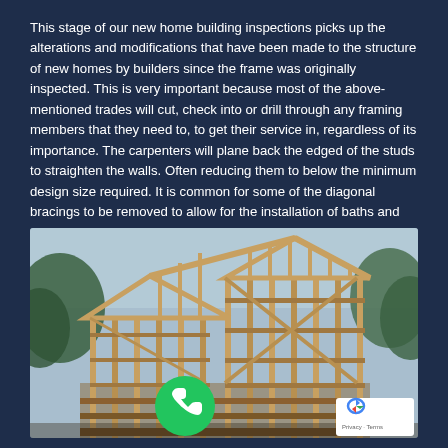This stage of our new home building inspections picks up the alterations and modifications that have been made to the structure of new homes by builders since the frame was originally inspected. This is very important because most of the above-mentioned trades will cut, check into or drill through any framing members that they need to, to get their service in, regardless of its importance. The carpenters will plane back the edged of the studs to straighten the walls. Often reducing them to below the minimum design size required. It is common for some of the diagonal bracings to be removed to allow for the installation of baths and other fixtures.
[Figure (photo): A wooden frame structure of a new home under construction, showing exposed lumber framing against a sky background with trees visible. A green phone/call button icon is overlaid at the bottom center. A Google reCAPTCHA badge appears in the bottom right corner.]